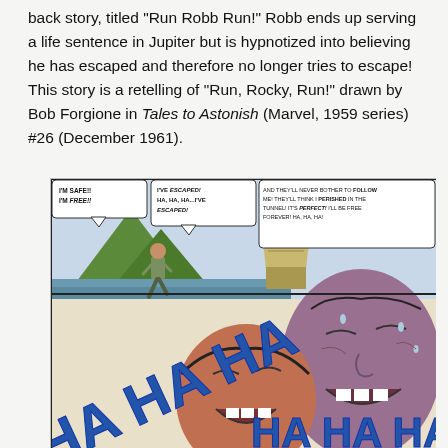back story, titled "Run Robb Run!" Robb ends up serving a life sentence in Jupiter but is hypnotized into believing he has escaped and therefore no longer tries to escape!  This story is a retelling of "Run, Rocky, Run!" drawn by Bob Forgione in Tales to Astonish (Marvel, 1959 series) #26 (December 1961).
[Figure (illustration): A comic book panel showing a man running in an alien landscape with mountains and a pyramid structure, with speech bubbles saying 'I'M SAFE!! I'M FREE!!', 'I'VE ESCAPED! HA, HA, HA...I'VE ESCAPED!', and 'AND THEY'LL NEVER BOTHER TO FOLLOW ME! THEY'LL THINK I PERISHED IN THE TUNNEL! IT'S PERFECT! I'LL BE FREE FOREVER! HA, HA, HA!' Below, two faces are shown laughing maniacally with large 'HA HA HA' text in the foreground.]